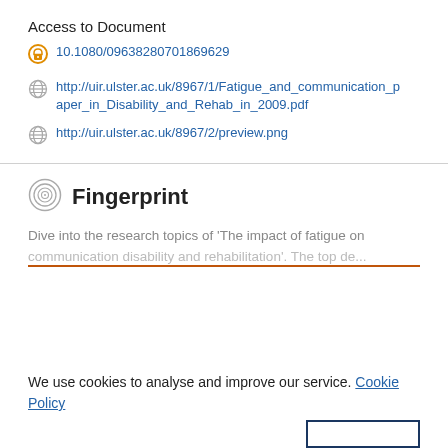Access to Document
10.1080/09638280701869629
http://uir.ulster.ac.uk/8967/1/Fatigue_and_communication_paper_in_Disability_and_Rehab_in_2009.pdf
http://uir.ulster.ac.uk/8967/2/preview.png
Fingerprint
Dive into the research topics of 'The impact of fatigue on
We use cookies to analyse and improve our service. Cookie Policy